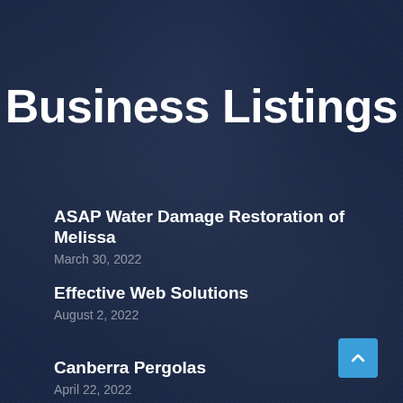Business Listings
ASAP Water Damage Restoration of Melissa
March 30, 2022
Effective Web Solutions
August 2, 2022
Canberra Pergolas
April 22, 2022
[Figure (other): Scroll-to-top button, light blue square with upward chevron arrow icon]